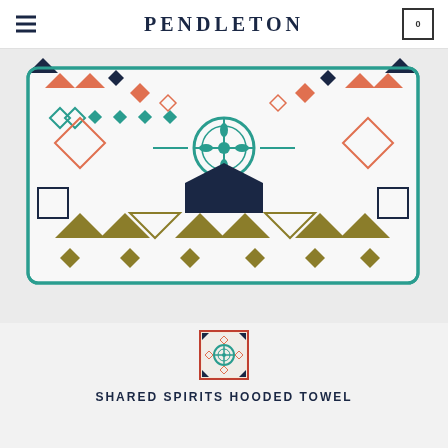PENDLETON
[Figure (photo): Pendleton Shared Spirits Hooded Towel displayed flat, showing Native American-inspired geometric pattern in navy, coral/orange, teal, and gold/olive on white cotton terry background. The towel has a teal piping/trim border.]
[Figure (photo): Small thumbnail image of the Shared Spirits Hooded Towel showing the central circular motif in teal and coral/orange against a patterned background, in a small square frame with orange/red border.]
SHARED SPIRITS HOODED TOWEL